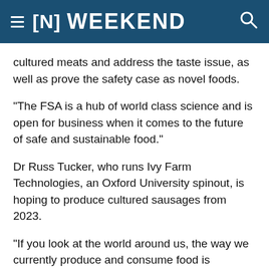≡ [N] WEEKEND
cultured meats and address the taste issue, as well as prove the safety case as novel foods.
"The FSA is a hub of world class science and is open for business when it comes to the future of safe and sustainable food."
Dr Russ Tucker, who runs Ivy Farm Technologies, an Oxford University spinout, is hoping to produce cultured sausages from 2023.
"If you look at the world around us, the way we currently produce and consume food is unsustainable," Dr Tucker said.